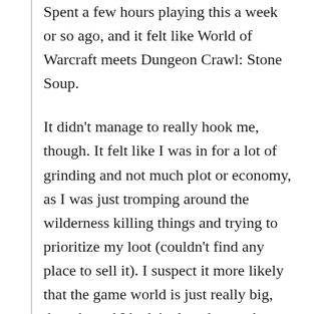Spent a few hours playing this a week or so ago, and it felt like World of Warcraft meets Dungeon Crawl: Stone Soup.
It didn't manage to really hook me, though. It felt like I was in for a lot of grinding and not much plot or economy, as I was just tromping around the wilderness killing things and trying to prioritize my loot (couldn't find any place to sell it). I suspect it more likely that the game world is just really big, though, and I hadn't played enough to be able to see the big picture.
I also hit what seemed to be a dead-end, as the game said I needed to explore the place I thought I was in, but didn't give me credit for doing so after I had explored and cleared the entire area. Probably I